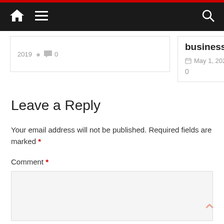Navigation bar with home icon, menu icon, and search icon
2019  0
business
May 1, 2020
0
Leave a Reply
Your email address will not be published. Required fields are marked *
Comment *